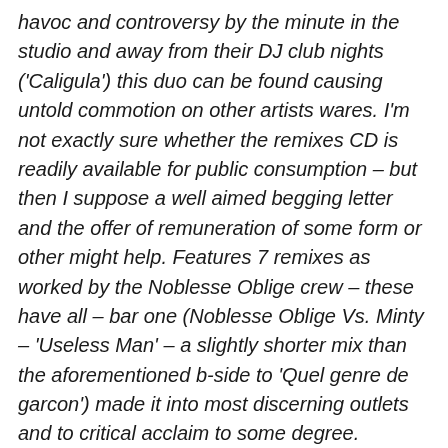havoc and controversy by the minute in the studio and away from their DJ club nights ('Caligula') this duo can be found causing untold commotion on other artists wares. I'm not exactly sure whether the remixes CD is readily available for public consumption – but then I suppose a well aimed begging letter and the offer of remuneration of some form or other might help. Features 7 remixes as worked by the Noblesse Oblige crew – these have all – bar one (Noblesse Oblige Vs. Minty – 'Useless Man' – a slightly shorter mix than the aforementioned b-side to 'Quel genre de garcon') made it into most discerning outlets and to critical acclaim to some degree. Admittedly you struggle with remixes if, as is the case here, you haven't had the pleasure of hearing the original – MIA's 'Galang' is given a suitably floor throbbing funkily mooching face lift all replete with ethnic accents, gunshots